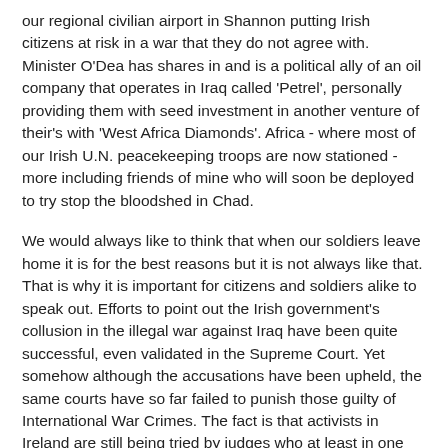our regional civilian airport in Shannon putting Irish citizens at risk in a war that they do not agree with. Minister O'Dea has shares in and is a political ally of an oil company that operates in Iraq called 'Petrel', personally providing them with seed investment in another venture of their's with 'West Africa Diamonds'. Africa - where most of our Irish U.N. peacekeeping troops are now stationed - more including friends of mine who will soon be deployed to try stop the bloodshed in Chad.
We would always like to think that when our soldiers leave home it is for the best reasons but it is not always like that. That is why it is important for citizens and soldiers alike to speak out. Efforts to point out the Irish government's collusion in the illegal war against Iraq have been quite successful, even validated in the Supreme Court. Yet somehow although the accusations have been upheld, the same courts have so far failed to punish those guilty of International War Crimes. The fact is that activists in Ireland are still being tried by judges who at least in one instance are personal allies of George Bush, one who was invited to his inauguration. I just speak from an Irish point of view but